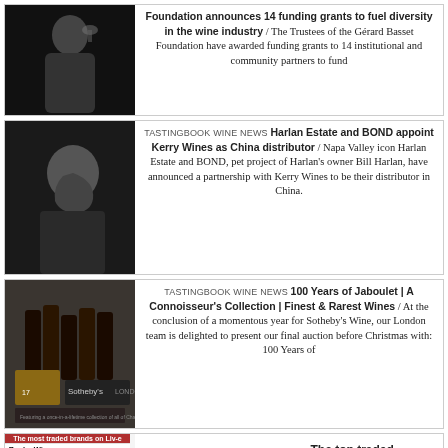[Figure (photo): Black and white photo of a man in a suit holding a wine glass]
Foundation announces 14 funding grants to fuel diversity in the wine industry / The Trustees of the Gérard Basset Foundation have awarded funding grants to 14 institutional and community partners to fund
[Figure (photo): Black and white portrait photo of an older man in profile]
TASTINGBOOK WINE NEWS Harlan Estate and BOND appoint Kerry Wines as China distributor / Napa Valley icon Harlan Estate and BOND, pet project of Harlan's owner Bill Harlan, have announced a partnership with Kerry Wines to be their distributor in China.
[Figure (photo): Color photo of wine bottles and Sotheby's auction branding]
TASTINGBOOK WINE NEWS 100 Years of Jaboulet | A Connoisseur's Collection | Finest & Rarest Wines / At the conclusion of a momentous year for Sotheby's Wine, our London team is delighted to present our final auction before Christmas with: 100 Years of
[Figure (table-as-image): Table showing most traded brands on Liv-ex with columns Rank and Wine, listing Chateau Lafite Rothschild, Petrus, Chateau Mouton Rothschild, Tenuta San Guido Sassicaia]
TASTINGBOOK WINE NEWS The top traded